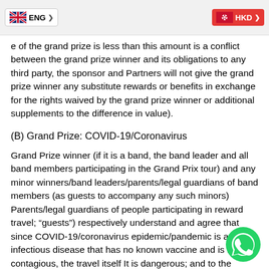ENG | HKD
e of the grand prize is less than this amount is a conflict between the grand prize winner and its obligations to any third party, the sponsor and Partners will not give the grand prize winner any substitute rewards or benefits in exchange for the rights waived by the grand prize winner or additional supplements to the difference in value).
(B) Grand Prize: COVID-19/Coronavirus
Grand Prize winner (if it is a band, the band leader and all band members participating in the Grand Prix tour) and any minor winners/band leaders/parents/legal guardians of band members (as guests to accompany any such minors) Parents/legal guardians of people participating in reward travel; “guests”) respectively understand and agree that since COVID-19/coronavirus epidemic/pandemic is an infectious disease that has no known vaccine and is highly contagious, the travel itself It is dangerous; and to the maximum extent permitted by law, the above-mentioned individuals bear all or part of any and all risks of illness or arising directly or indirectly from reward travel. In the absence of restrictions, the winner/guest clearly admitted that despite the safety precautions taken by airlines, hotel properties, concerts and